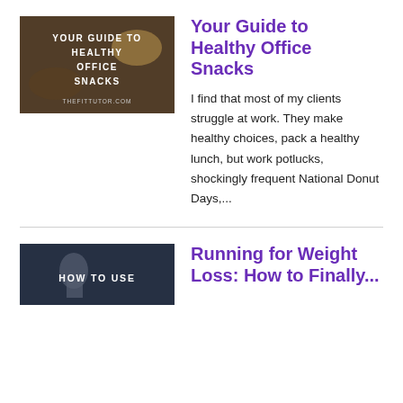[Figure (photo): Blog post thumbnail image with text overlay: YOUR GUIDE TO HEALTHY OFFICE SNACKS, THEFITTUTOR.COM, food/desk background]
Your Guide to Healthy Office Snacks
I find that most of my clients struggle at work. They make healthy choices, pack a healthy lunch, but work potlucks, shockingly frequent National Donut Days,...
[Figure (photo): Blog post thumbnail image with text overlay: HOW TO USE, person running background]
Running for Weight Loss: How to Finally...